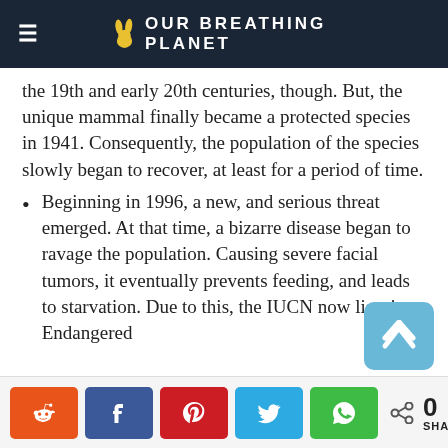OUR BREATHING PLANET
the 19th and early 20th centuries, though. But, the unique mammal finally became a protected species in 1941. Consequently, the population of the species slowly began to recover, at least for a period of time.
Beginning in 1996, a new, and serious threat emerged. At that time, a bizarre disease began to ravage the population. Causing severe facial tumors, it eventually prevents feeding, and leads to starvation. Due to this, the IUCN now lists it as Endangered.
[Figure (other): Social share buttons: Reddit (orange), Facebook (blue), Pinterest (red), Twitter (light blue), WhatsApp (green), and share count showing 0 SHARES]